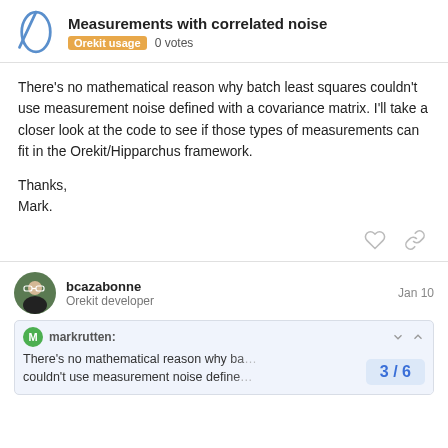Measurements with correlated noise | Orekit usage | 0 votes
There’s no mathematical reason why batch least squares couldn’t use measurement noise defined with a covariance matrix. I’ll take a closer look at the code to see if those types of measurements can fit in the Orekit/Hipparchus framework.

Thanks,
Mark.
bcazabonne
Orekit developer
Jan 10
markrutten:
There’s no mathematical reason why ba… couldn’t use measurement noise define…